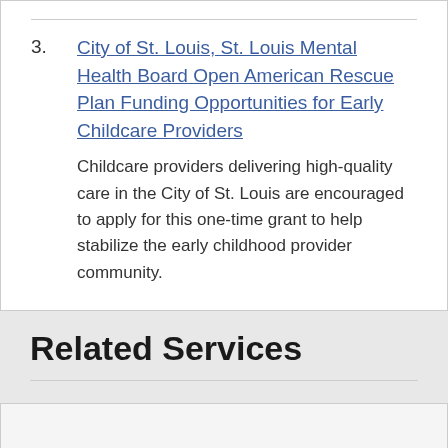3. City of St. Louis, St. Louis Mental Health Board Open American Rescue Plan Funding Opportunities for Early Childcare Providers — Childcare providers delivering high-quality care in the City of St. Louis are encouraged to apply for this one-time grant to help stabilize the early childhood provider community.
Related Services
1. Report Street Lighting Problem — Report city street lights damaged or not working, on during the day, or an entire block of lights out.